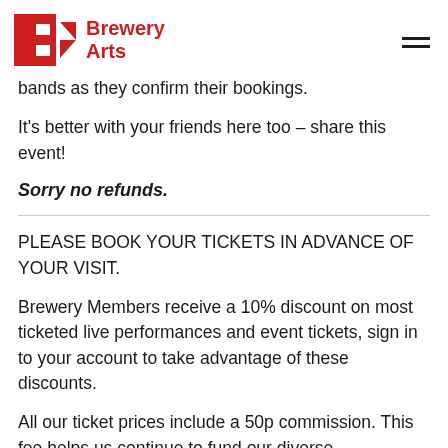Brewery Arts
bands as they confirm their bookings.
It's better with your friends here too – share this event!
Sorry no refunds.
PLEASE BOOK YOUR TICKETS IN ADVANCE OF YOUR VISIT.
Brewery Members receive a 10% discount on most ticketed live performances and event tickets, sign in to your account to take advantage of these discounts.
All our ticket prices include a 50p commission. This fee helps us continue to fund our diverse programme. Creative learning classes & workshops are exempt.